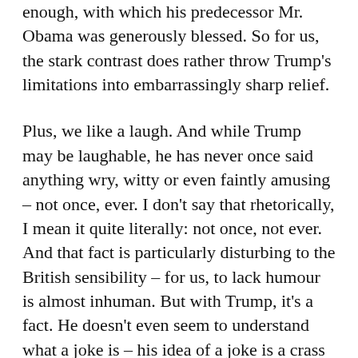enough, with which his predecessor Mr. Obama was generously blessed. So for us, the stark contrast does rather throw Trump's limitations into embarrassingly sharp relief.
Plus, we like a laugh. And while Trump may be laughable, he has never once said anything wry, witty or even faintly amusing – not once, ever. I don't say that rhetorically, I mean it quite literally: not once, not ever. And that fact is particularly disturbing to the British sensibility – for us, to lack humour is almost inhuman. But with Trump, it's a fact. He doesn't even seem to understand what a joke is – his idea of a joke is a crass comment, an illiterate insult, a casual act of cruelty.